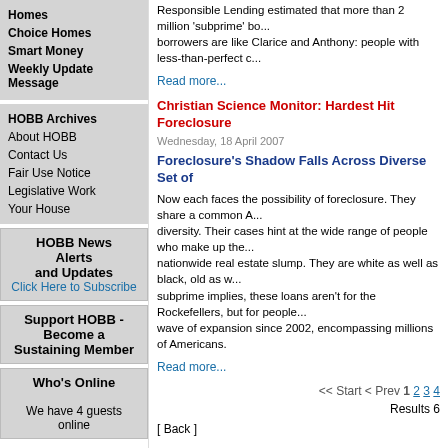Responsible Lending estimated that more than 2 million 'subprime' bo... borrowers are like Clarice and Anthony: people with less-than-perfect c...
Read more...
Christian Science Monitor: Hardest Hit Foreclosure
Wednesday, 18 April 2007
Foreclosure's Shadow Falls Across Diverse Set of
Now each faces the possibility of foreclosure. They share a common A... diversity. Their cases hint at the wide range of people who make up the... nationwide real estate slump. They are white as well as black, old as w... subprime implies, these loans aren't for the Rockefellers, but for people... wave of expansion since 2002, encompassing millions of Americans.
Read more...
<< Start < Prev 1 2 3 4
Results 6
[ Back ]
Homes
Choice Homes
Smart Money
Weekly Update Message
HOBB Archives
About HOBB
Contact Us
Fair Use Notice
Legislative Work
Your House
HOBB News Alerts and Updates
Click Here to Subscribe
Support HOBB - Become a Sustaining Member
Who's Online

We have 4 guests online